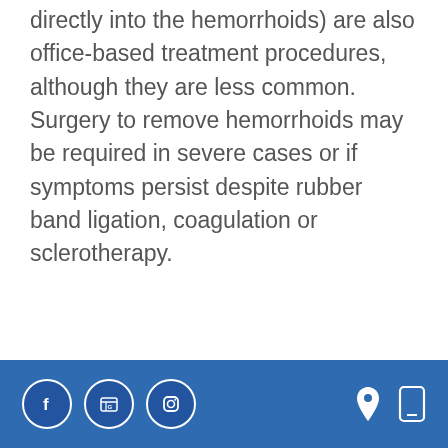directly into the hemorrhoids) are also office-based treatment procedures, although they are less common. Surgery to remove hemorrhoids may be required in severe cases or if symptoms persist despite rubber band ligation, coagulation or sclerotherapy.
What are anal fissures?
[Figure (other): Website footer with social media icons (Facebook, Google, Instagram) on the left and location/mobile icons on the right, on a blue background.]